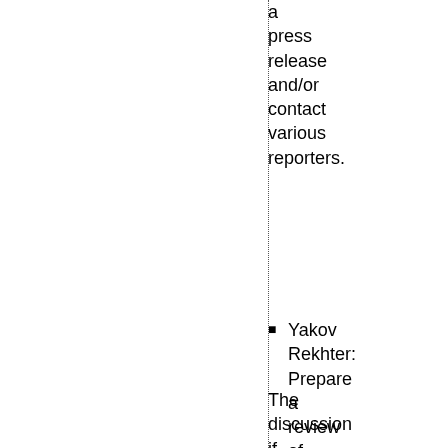a press release and/or contact various reporters.
Yakov Rekhter: Prepare a review of “routing architecture for a multi-provider, international internet.”
The discussion if